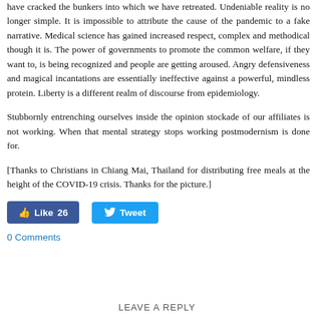have cracked the bunkers into which we have retreated. Undeniable reality is no longer simple. It is impossible to attribute the cause of the pandemic to a fake narrative. Medical science has gained increased respect, complex and methodical though it is. The power of governments to promote the common welfare, if they want to, is being recognized and people are getting aroused. Angry defensiveness and magical incantations are essentially ineffective against a powerful, mindless protein. Liberty is a different realm of discourse from epidemiology.
Stubbornly entrenching ourselves inside the opinion stockade of our affiliates is not working. When that mental strategy stops working postmodernism is done for.
[Thanks to Christians in Chiang Mai, Thailand for distributing free meals at the height of the COVID-19 crisis. Thanks for the picture.]
[Figure (other): Social media buttons: Facebook Like button showing 26 likes and a Twitter Tweet button]
0 Comments
LEAVE A REPLY